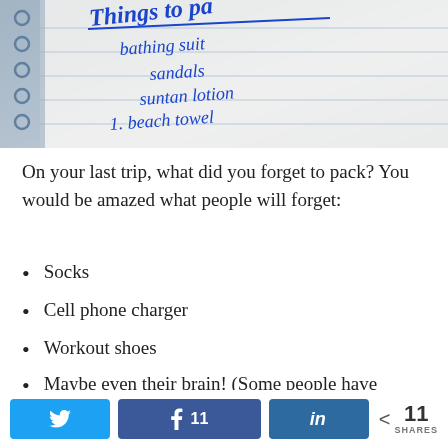[Figure (photo): Close-up photo of an open notebook with handwritten text reading 'Things to pack' as a heading (underlined), with items listed below: bathing suit, sandals, suntan lotion, 1. beach towel]
On your last trip, what did you forget to pack? You would be amazed what people will forget:
Socks
Cell phone charger
Workout shoes
Maybe even their brain! (Some people have admitted to this...)